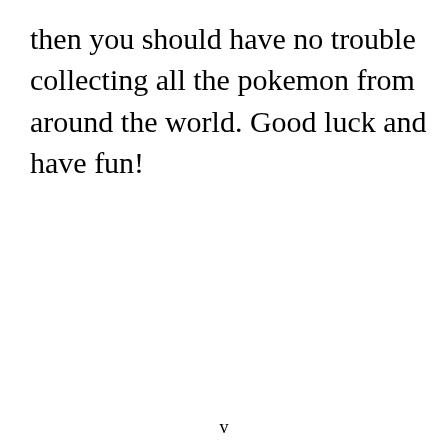then you should have no trouble collecting all the pokemon from around the world. Good luck and have fun!
v